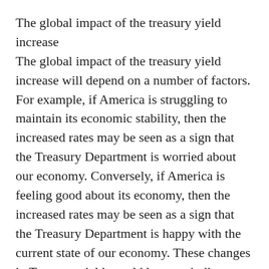The global impact of the treasury yield increase
The global impact of the treasury yield increase will depend on a number of factors. For example, if America is struggling to maintain its economic stability, then the increased rates may be seen as a sign that the Treasury Department is worried about our economy. Conversely, if America is feeling good about its economy, then the increased rates may be seen as a sign that the Treasury Department is happy with the current state of our economy. These changes in Treasury yields could have an indirect impact on stock prices around the world.
What will happen to companies within America?
The Treasury Department's decision to increase itsydeal rates will lead to a weakening of the American economy. This will have a direct impact on companies